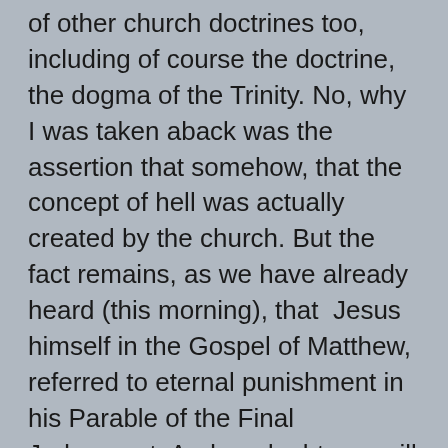of other church doctrines too, including of course the doctrine, the dogma of the Trinity. No, why I was taken aback was the assertion that somehow, that the concept of hell was actually created by the church. But the fact remains, as we have already heard (this morning), that  Jesus himself in the Gospel of Matthew, referred to eternal punishment in his Parable of the Final Judgement. And no doubt you will recall the story of Dives and Lazarus we heard a couple of weeks ago, in another parable from the Gospel of Luke, where Jesus tells how Dives suffers torment in the afterlife as a punishment for his thoughtless selfishness. Well, in the course of this short debate I was told that  all this is wrong and that hell doesn't really exist in the